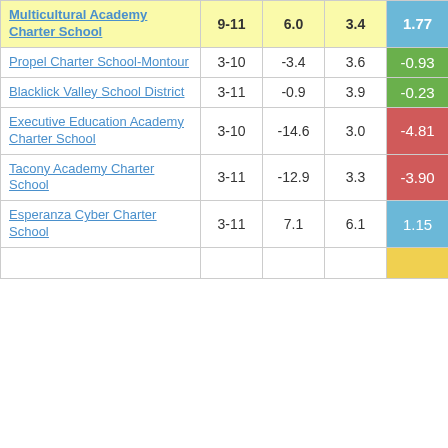| School Name | Grades | Col3 | Col4 | Score |
| --- | --- | --- | --- | --- |
| Multicultural Academy Charter School | 9-11 | 6.0 | 3.4 | 1.77 |
| Propel Charter School-Montour | 3-10 | -3.4 | 3.6 | -0.93 |
| Blacklick Valley School District | 3-11 | -0.9 | 3.9 | -0.23 |
| Executive Education Academy Charter School | 3-10 | -14.6 | 3.0 | -4.81 |
| Tacony Academy Charter School | 3-11 | -12.9 | 3.3 | -3.90 |
| Esperanza Cyber Charter School | 3-11 | 7.1 | 6.1 | 1.15 |